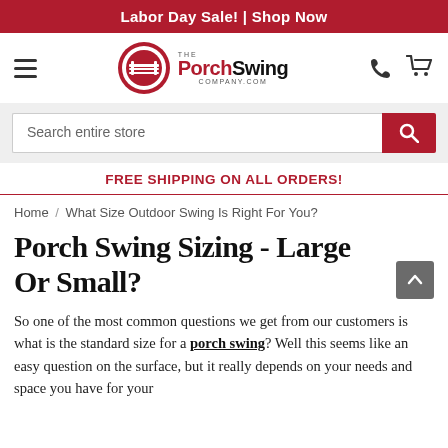Labor Day Sale! | Shop Now
[Figure (logo): The Porch Swing Company.com logo with circular red emblem, hamburger menu icon, phone icon, and cart icon]
Search entire store
FREE SHIPPING ON ALL ORDERS!
Home / What Size Outdoor Swing Is Right For You?
Porch Swing Sizing - Large Or Small?
So one of the most common questions we get from our customers is what is the standard size for a porch swing? Well this seems like an easy question on the surface, but it really depends on your needs and space you have for your